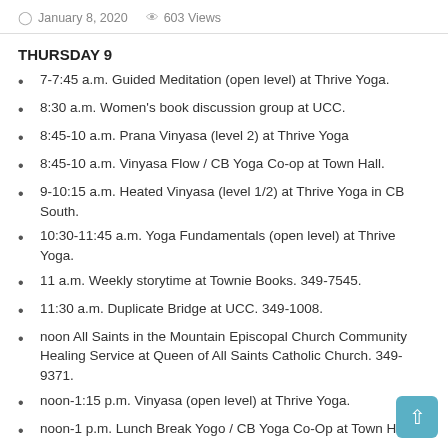January 8, 2020   603 Views
THURSDAY 9
7-7:45 a.m. Guided Meditation (open level) at Thrive Yoga.
8:30 a.m. Women's book discussion group at UCC.
8:45-10 a.m. Prana Vinyasa (level 2) at Thrive Yoga
8:45-10 a.m. Vinyasa Flow / CB Yoga Co-op at Town Hall.
9-10:15 a.m. Heated Vinyasa (level 1/2) at Thrive Yoga in CB South.
10:30-11:45 a.m. Yoga Fundamentals (open level) at Thrive Yoga.
11 a.m. Weekly storytime at Townie Books. 349-7545.
11:30 a.m. Duplicate Bridge at UCC. 349-1008.
noon All Saints in the Mountain Episcopal Church Community Healing Service at Queen of All Saints Catholic Church. 349-9371.
noon-1:15 p.m. Vinyasa (open level) at Thrive Yoga.
noon-1 p.m. Lunch Break Yogo / CB Yoga Co-Op at Town Hall.
1-3 p.m. Tech Time at the Crested Butte Library. 349-6535.
2-3 p.m. Therapeutic Yoga (open level) at Thrive Yoga.
4 p.m. Free tour of the new Center for the Arts building. 349-7487.
4-5:30 p.m. St. Mary's Garage, a free thrift store. 300 Belleview, Unit 2, on the south end of 3rd Street. 970-318-6826.
5:30-6:45 p.m. Restorative Yoga (open level) at Thrive Yoga.